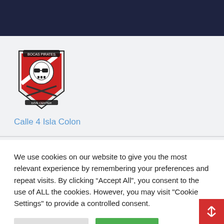[Figure (logo): Bocas Pirates Dive Center logo - skull with sunglasses on red dive flag shield with crossed items]
Calle 4 Isla Colon
We use cookies on our website to give you the most relevant experience by remembering your preferences and repeat visits. By clicking “Accept All”, you consent to the use of ALL the cookies. However, you may visit "Cookie Settings" to provide a controlled consent.
Cookie Settings
Accept All